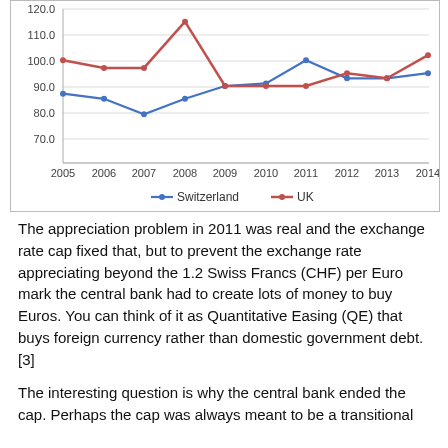[Figure (line-chart): ]
The appreciation problem in 2011 was real and the exchange rate cap fixed that, but to prevent the exchange rate appreciating beyond the 1.2 Swiss Francs (CHF) per Euro mark the central bank had to create lots of money to buy Euros. You can think of it as Quantitative Easing (QE) that buys foreign currency rather than domestic government debt. [3]
The interesting question is why the central bank ended the cap. Perhaps the cap was always meant to be a transitional